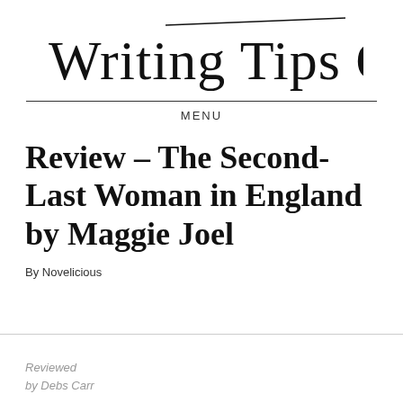Writing Tips Oasis
MENU
Review – The Second-Last Woman in England by Maggie Joel
By Novelicious
Reviewed by Debs Carr